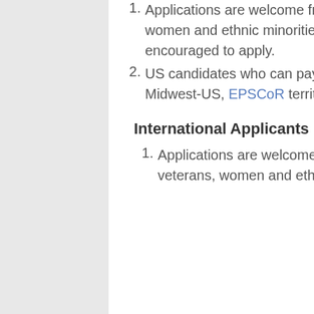Applications are welcome from engineers who wish to retrain for AI; veterans, women and ethnic minorities (in STEM) who fit that description are especially encouraged to apply.
US candidates who can pay-it-forward at institutions in the Rust-Belt, Midwest-US, EPSCoR territories or at land grant universities will be favored.
International Applicants
Applications are welcome from engineers who wish to retrain for AI; veterans, women and ethnic